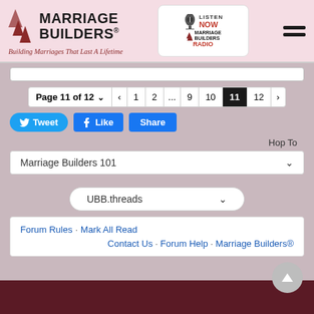[Figure (logo): Marriage Builders logo with arrows icon and tagline 'Building Marriages That Last A Lifetime']
[Figure (logo): Marriage Builders Radio 'Listen Now' logo badge]
Page 11 of 12 pagination controls with page numbers 1, 2, ..., 9, 10, 11 (active), 12
Tweet | Like | Share buttons
Hop To
Marriage Builders 101 dropdown
UBB.threads dropdown
Forum Rules · Mark All Read
Contact Us · Forum Help · Marriage Builders®
Dark footer bar